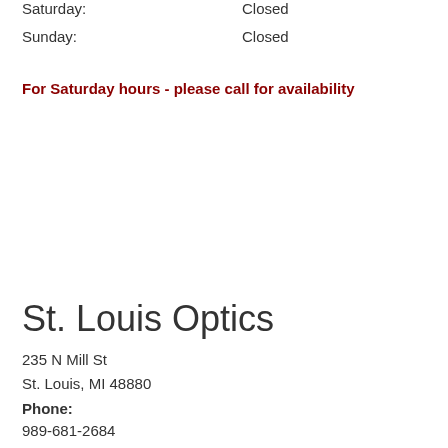Saturday:   Closed
Sunday:   Closed
For Saturday hours - please call for availability
St. Louis Optics
235 N Mill St
St. Louis, MI 48880
Phone:
989-681-2684